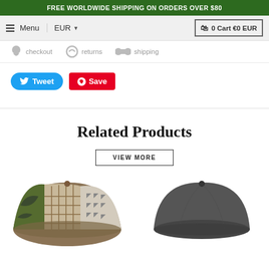FREE WORLDWIDE SHIPPING ON ORDERS OVER $80
Menu  EUR  0 Cart €0 EUR
checkout  returns  shipping
Tweet  Save
Related Products
VIEW MORE
[Figure (photo): Two hats shown from above: left is a patchwork cap with camouflage, plaid, and houndstooth panels; right is a solid dark grey wool cap]
[Figure (photo): Dark grey solid wool/felt baseball cap seen from above and behind]